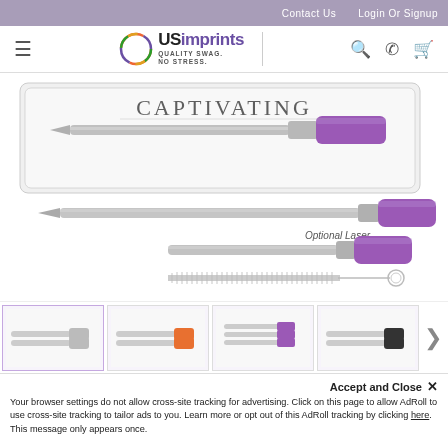Contact Us   Login Or Signup
[Figure (logo): USImprints logo with circular rainbow ring, text 'USImprints QUALITY SWAG. NO STRESS.']
[Figure (photo): Product photo of reusable metal straws with purple silicone tip, shown in packaging (top), full length (middle), with 'Optional Laser' variant shorter version, and a cleaning brush with keyring at bottom.]
[Figure (photo): Thumbnail 1: straw set white]
[Figure (photo): Thumbnail 2: straw set orange]
[Figure (photo): Thumbnail 3: straw set purple multi]
[Figure (photo): Thumbnail 4: straw set black]
Your browser settings do not allow cross-site tracking for advertising. Click on this page to allow AdRoll to use cross-site tracking to tailor ads to you. Learn more or opt out of this AdRoll tracking by clicking here. This message only appears once.
Accept and Close ✕